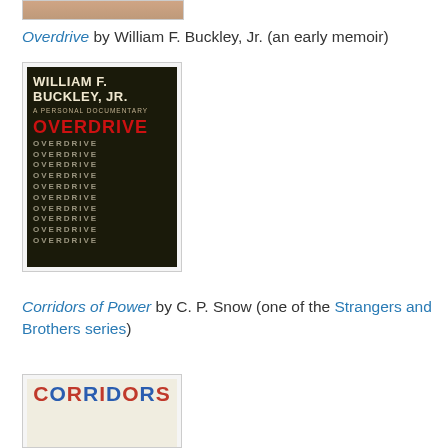[Figure (photo): Partial top image of a person, cropped at the top of the page]
Overdrive by William F. Buckley, Jr. (an early memoir)
[Figure (photo): Book cover of 'Overdrive: A Personal Documentary' by William F. Buckley, Jr. Dark background with author name at top, red bold OVERDRIVE text, and repeating lighter OVERDRIVE text below]
Corridors of Power by C. P. Snow (one of the Strangers and Brothers series)
[Figure (photo): Book cover of 'Corridors of Power' showing the word CORRIDORS in alternating red and blue bold letters on a light background]